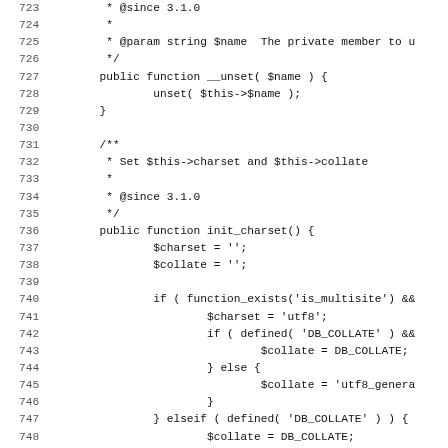Source code listing, lines 723-755, PHP class methods __unset and init_charset